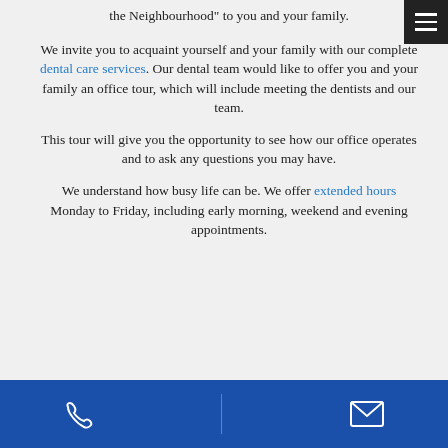the Neighbourhood" to you and your family.
We invite you to acquaint yourself and your family with our complete dental care services. Our dental team would like to offer you and your family an office tour, which will include meeting the dentists and our team.
This tour will give you the opportunity to see how our office operates and to ask any questions you may have.
We understand how busy life can be. We offer extended hours Monday to Friday, including early morning, weekend and evening appointments.
Phone and email contact icons